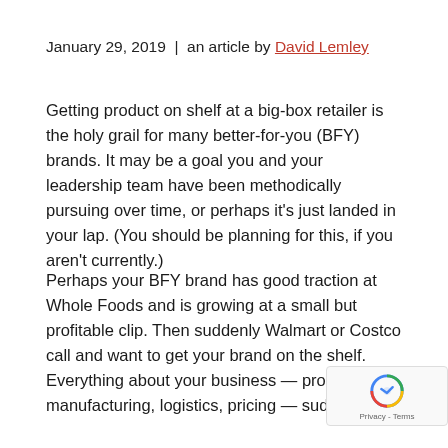January 29, 2019  |  an article by David Lemley
Getting product on shelf at a big-box retailer is the holy grail for many better-for-you (BFY) brands. It may be a goal you and your leadership team have been methodically pursuing over time, or perhaps it's just landed in your lap. (You should be planning for this, if you aren't currently.)
Perhaps your BFY brand has good traction at Whole Foods and is growing at a small but profitable clip. Then suddenly Walmart or Costco call and want to get your brand on the shelf. Everything about your business — product, manufacturing, logistics, pricing — suddenly